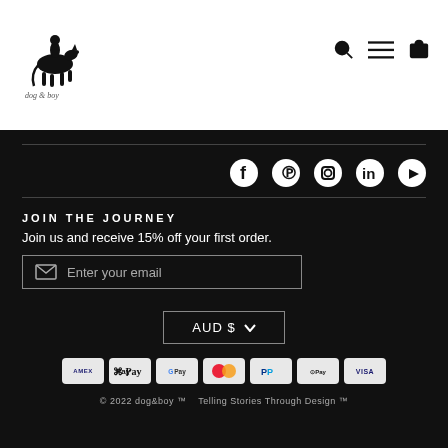[Figure (logo): dog&boy logo — illustrated figure of person riding a horse, with handwritten brand name below]
[Figure (illustration): Header navigation icons: search (magnifier), menu (hamburger), cart (shopping bag)]
[Figure (illustration): Social media icons row: Facebook, Pinterest, Instagram, LinkedIn, YouTube]
JOIN THE JOURNEY
Join us and receive 15% off your first order.
Enter your email
AUD $
[Figure (illustration): Payment method badges: Amex, Apple Pay, Google Pay, Mastercard, PayPal, Shop Pay, Visa]
© 2022 dog&boy ™   Telling Stories Through Design ™